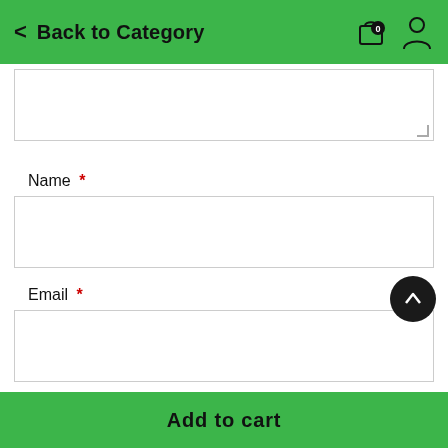Back to Category
[textarea field - partially visible]
Name *
[name input field]
Email *
[email input field]
Save my name, email, and website in this browser for the next time I comment.
Add to cart